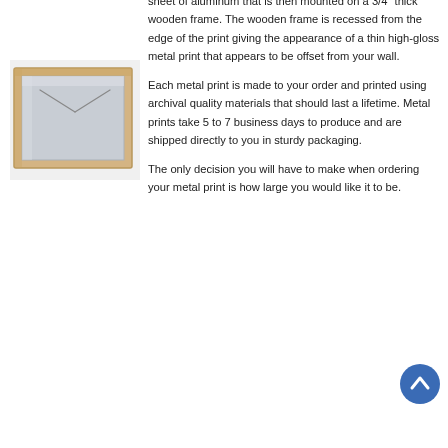[Figure (photo): Photo of a metal print mounted on a wooden frame, viewed from the back/side angle, showing the aluminum sheet on a light wood stretcher frame with wire hanger visible.]
sheet of aluminum that is then mounted on a 3/4" thick wooden frame. The wooden frame is recessed from the edge of the print giving the appearance of a thin high-gloss metal print that appears to be offset from your wall.
Each metal print is made to your order and printed using archival quality materials that should last a lifetime. Metal prints take 5 to 7 business days to produce and are shipped directly to you in sturdy packaging.
The only decision you will have to make when ordering your metal print is how large you would like it to be.